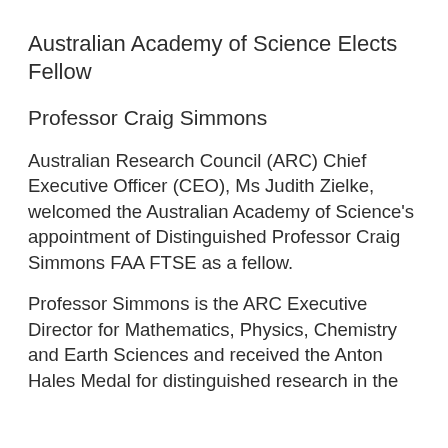Australian Academy of Science Elects Fellow
Professor Craig Simmons
Australian Research Council (ARC) Chief Executive Officer (CEO), Ms Judith Zielke, welcomed the Australian Academy of Science's appointment of Distinguished Professor Craig Simmons FAA FTSE as a fellow.
Professor Simmons is the ARC Executive Director for Mathematics, Physics, Chemistry and Earth Sciences and received the Anton Hales Medal for distinguished research in the